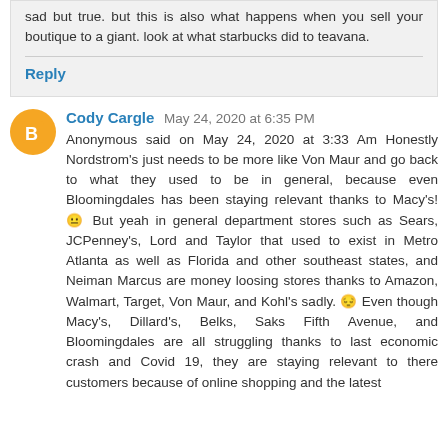sad but true. but this is also what happens when you sell your boutique to a giant. look at what starbucks did to teavana.
Reply
Cody Cargle  May 24, 2020 at 6:35 PM
Anonymous said on May 23, 2020 at 3:33 Am Honestly Nordstrom's just needs to be more like Von Maur and go back to what they used to be in general, because even Bloomingdales has been staying relevant thanks to Macy's! 😐 But yeah in general department stores such as Sears, JCPenney's, Lord and Taylor that used to exist in Metro Atlanta as well as Florida and other southeast states, and Neiman Marcus are money loosing stores thanks to Amazon, Walmart, Target, Von Maur, and Kohl's sadly. 😔 Even though Macy's, Dillard's, Belks, Saks Fifth Avenue, and Bloomingdales are all struggling thanks to last economic crash and Covid 19, they are staying relevant to there customers because of online shopping and the latest